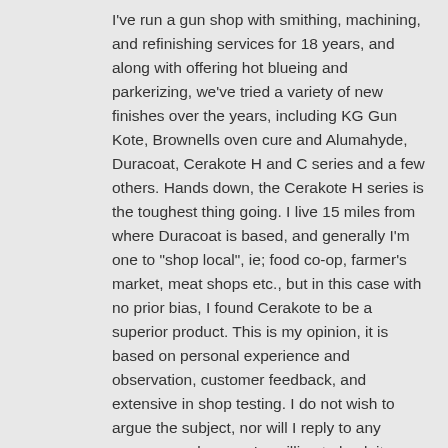I've run a gun shop with smithing, machining, and refinishing services for 18 years, and along with offering hot blueing and parkerizing, we've tried a variety of new finishes over the years, including KG Gun Kote, Brownells oven cure and Alumahyde, Duracoat, Cerakote H and C series and a few others. Hands down, the Cerakote H series is the toughest thing going. I live 15 miles from where Duracoat is based, and generally I'm one to "shop local", ie; food co-op, farmer's market, meat shops etc., but in this case with no prior bias, I found Cerakote to be a superior product. This is my opinion, it is based on personal experience and observation, customer feedback, and extensive in shop testing. I do not wish to argue the subject, nor will I reply to any response unless you're willing to back it up with your own coated firearms in head to head abusive testing (any other commentary is just talk). Then after an acetone soak, ball peen hammer